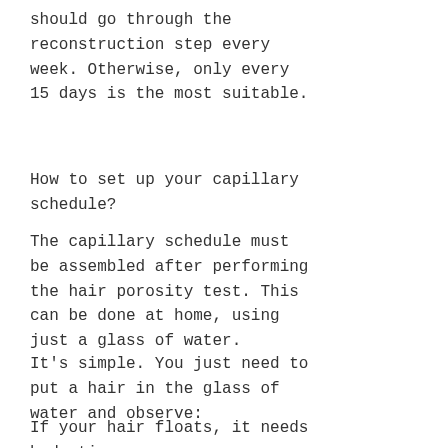should go through the reconstruction step every week. Otherwise, only every 15 days is the most suitable.
How to set up your capillary schedule?
The capillary schedule must be assembled after performing the hair porosity test. This can be done at home, using just a glass of water.
It's simple. You just need to put a hair in the glass of water and observe:
If your hair floats, it needs hydration;
If it stays in the middle of